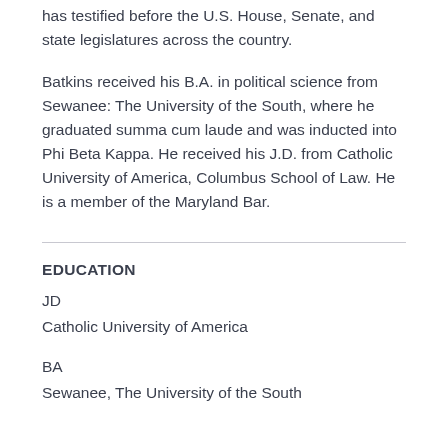has testified before the U.S. House, Senate, and state legislatures across the country.
Batkins received his B.A. in political science from Sewanee: The University of the South, where he graduated summa cum laude and was inducted into Phi Beta Kappa. He received his J.D. from Catholic University of America, Columbus School of Law. He is a member of the Maryland Bar.
EDUCATION
JD
Catholic University of America
BA
Sewanee, The University of the South